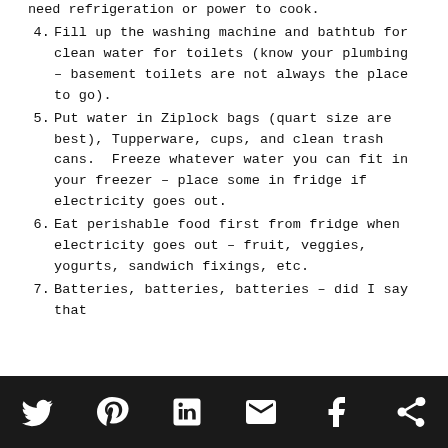need refrigeration or power to cook.
4. Fill up the washing machine and bathtub for clean water for toilets (know your plumbing – basement toilets are not always the place to go).
5. Put water in Ziplock bags (quart size are best), Tupperware, cups, and clean trash cans.  Freeze whatever water you can fit in your freezer – place some in fridge if electricity goes out.
6. Eat perishable food first from fridge when electricity goes out – fruit, veggies, yogurts, sandwich fixings, etc.
7. Batteries, batteries, batteries – did I say that
Social share icons: Twitter, Pinterest, LinkedIn, Email, Facebook, More